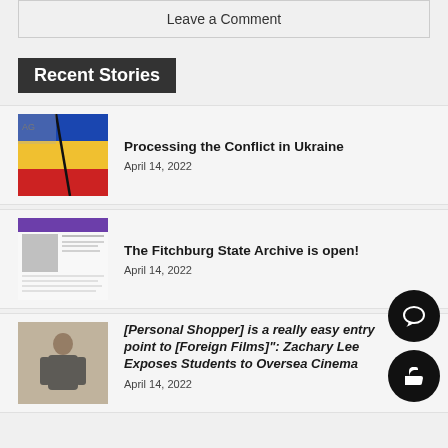Leave a Comment
Recent Stories
Processing the Conflict in Ukraine
April 14, 2022
The Fitchburg State Archive is open!
April 14, 2022
[Personal Shopper] is a really easy entry point to [Foreign Films]": Zachary Lee Exposes Students to Oversea Cinema
April 14, 2022